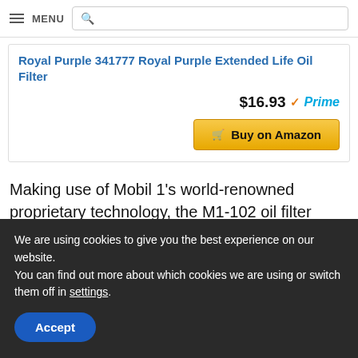MENU [search bar]
Royal Purple 341777 Royal Purple Extended Life Oil Filter
$16.93 ✓Prime
Buy on Amazon
Making use of Mobil 1's world-renowned proprietary technology, the M1-102 oil filter exceeds the [...]
We are using cookies to give you the best experience on our website.
You can find out more about which cookies we are using or switch them off in settings.
Accept